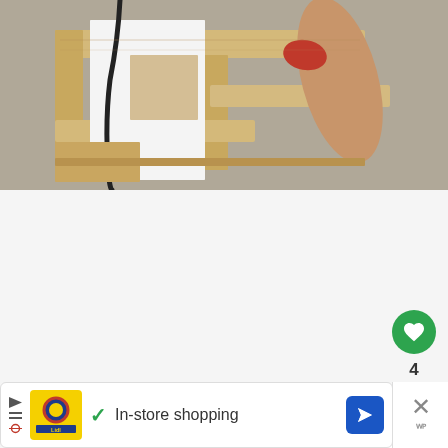[Figure (photo): Photo of wooden shelving unit being assembled or installed, showing wood planks, a power tool cord (black), a white panel, and a person's arm with a red cloth in the background, on a gray floor]
[Figure (infographic): White/light gray content area with interactive UI elements: a green circular heart/like button, a like count of 4, a share button (circle with share icon), a 'WHAT'S NEXT' panel showing a thumbnail and text 'Classroom Door Windo...', and an advertisement banner for Lidl showing 'In-store shopping' with a checkmark, navigation icon, and close button]
4
WHAT'S NEXT → Classroom Door Windo...
In-store shopping